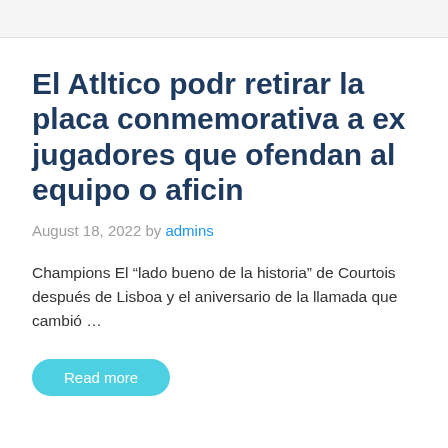El Atltico podr retirar la placa conmemorativa a ex jugadores que ofendan al equipo o aficin
August 18, 2022 by admins
Champions El “lado bueno de la historia” de Courtois después de Lisboa y el aniversario de la llamada que cambió ...
Read more